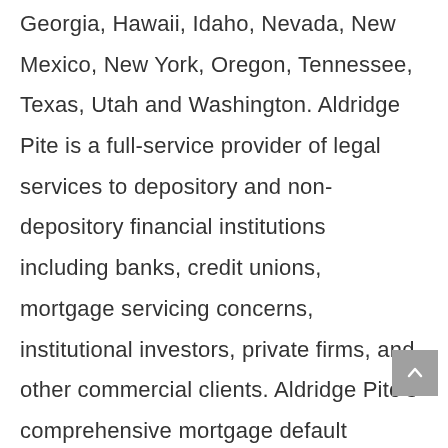Georgia, Hawaii, Idaho, Nevada, New Mexico, New York, Oregon, Tennessee, Texas, Utah and Washington. Aldridge Pite is a full-service provider of legal services to depository and non-depository financial institutions including banks, credit unions, mortgage servicing concerns, institutional investors, private firms, and other commercial clients. Aldridge Pite's comprehensive mortgage default practice, includes, but is not limited to, residential and commercial foreclosure and eviction proceedings, Chapter 7,